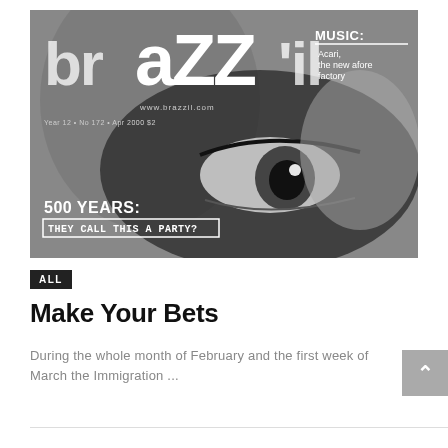[Figure (photo): Black and white magazine cover of 'brazzil' magazine showing a close-up face/eye photograph. Text on cover includes the magazine logo 'brazzil', 'www.brazzil.com', issue information 'Year 12 • No 172 • Apr 2000 $2', 'MUSIC: Acari, the new afore factory', '500 YEARS: THEY CALL THIS A PARTY?']
ALL
Make Your Bets
During the whole month of February and the first week of March the Immigration ...